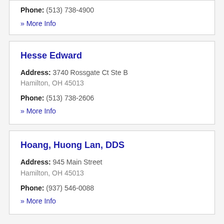Phone: (513) 738-4900
» More Info
Hesse Edward
Address: 3740 Rossgate Ct Ste B
Hamilton, OH 45013
Phone: (513) 738-2606
» More Info
Hoang, Huong Lan, DDS
Address: 945 Main Street
Hamilton, OH 45013
Phone: (937) 546-0088
» More Info